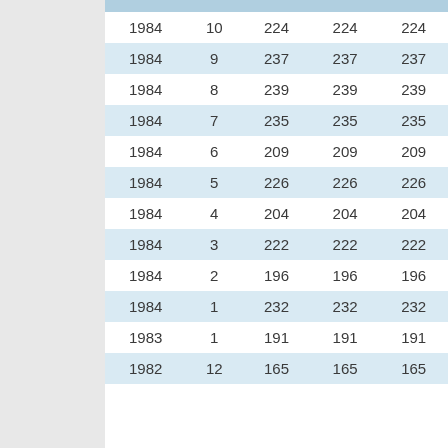| 1984 | 10 | 224 | 224 | 224 |
| 1984 | 9 | 237 | 237 | 237 |
| 1984 | 8 | 239 | 239 | 239 |
| 1984 | 7 | 235 | 235 | 235 |
| 1984 | 6 | 209 | 209 | 209 |
| 1984 | 5 | 226 | 226 | 226 |
| 1984 | 4 | 204 | 204 | 204 |
| 1984 | 3 | 222 | 222 | 222 |
| 1984 | 2 | 196 | 196 | 196 |
| 1984 | 1 | 232 | 232 | 232 |
| 1983 | 1 | 191 | 191 | 191 |
| 1982 | 12 | 165 | 165 | 165 |